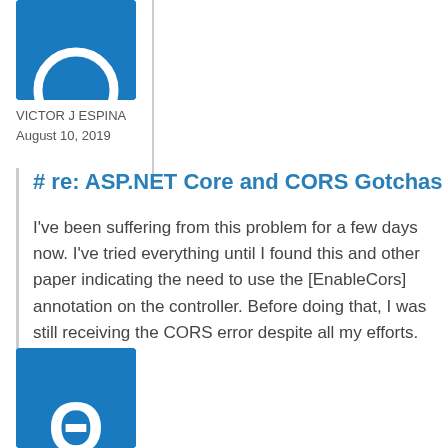[Figure (illustration): Blue avatar image with white circle outline icon for user Victor J Espina]
VICTOR J ESPINA
August 10, 2019
# re: ASP.NET Core and CORS Gotchas
I've been suffering from this problem for a few days now. I've tried everything until I found this and other paper indicating the need to use the [EnableCors] annotation on the controller. Before doing that, I was still receiving the CORS error despite all my efforts. Thanks a lot.
[Figure (illustration): Blue avatar image with white symbol icon for a second commenter]